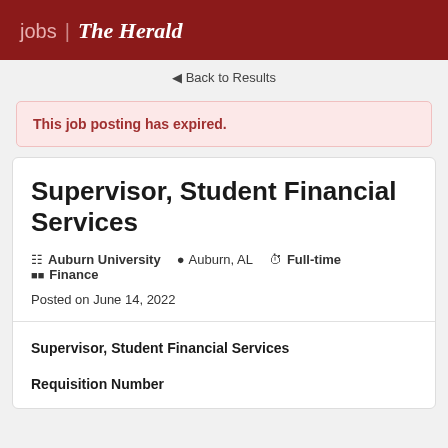jobs | The Herald
Back to Results
This job posting has expired.
Supervisor, Student Financial Services
Auburn University  Auburn, AL  Full-time  Finance
Posted on June 14, 2022
Supervisor, Student Financial Services
Requisition Number